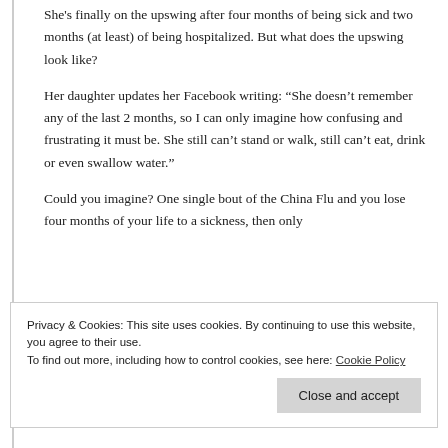She's finally on the upswing after four months of being sick and two months (at least) of being hospitalized. But what does the upswing look like?
Her daughter updates her Facebook writing: “She doesn’t remember any of the last 2 months, so I can only imagine how confusing and frustrating it must be. She still can’t stand or walk, still can’t eat, drink or even swallow water.”
Could you imagine? One single bout of the China Flu and you lose four months of your life to a sickness, then only
Privacy & Cookies: This site uses cookies. By continuing to use this website, you agree to their use.
To find out more, including how to control cookies, see here: Cookie Policy
mom. Don’t those Fauci memes seem so empty now?